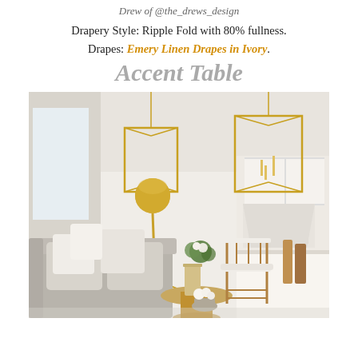Drew of @the_drews_design
Drapery Style: Ripple Fold with 80% fullness.
Drapes: Emery Linen Drapes in Ivory.
Accent Table
[Figure (photo): Bright white interior room with gold geometric pendant lights hanging from ceiling, a brass arc floor lamp, a gray upholstered sofa with cream pillows, a wooden accent table with flowers and vases, white bistro chairs, and a kitchen area in the background.]